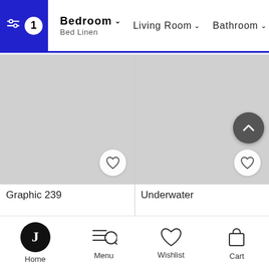Bedroom / Bed Linen | Living Room | Bathroom | Kitchen
[Figure (screenshot): Product listing page showing two product cards: 'Graphic 239' and 'Underwater', each with a gray placeholder image and a heart/wishlist icon. A scroll-to-top button appears on the right card.]
Graphic 239
Underwater
Home | Menu | Wishlist | Cart